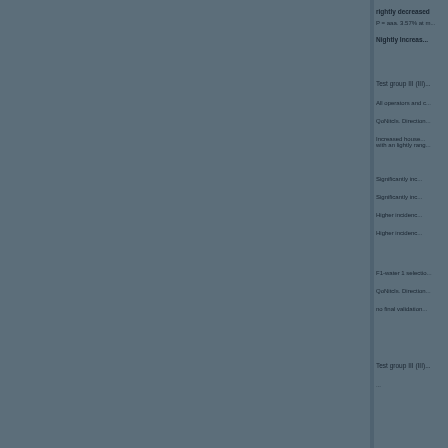Slightly decreased...
Slightly increased...
Test group III (III)...
All operators and c...
QoNitcls. Direction...
Increased house... with an lighty rang...
Significantly inc...
Significantly inc...
Higher incidenc...
Higher incidenc...
F1-water 1 selectio...
QoNitcls. Direction...
no final validation...
Test group III (III)...